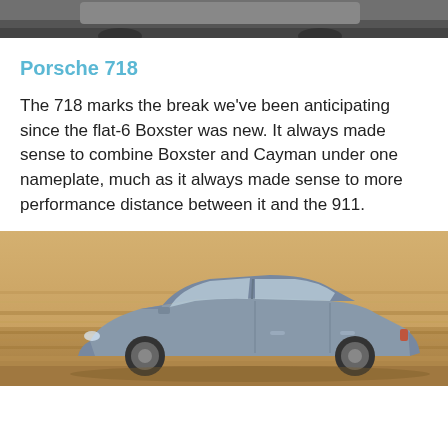[Figure (photo): Top portion of a car photo showing the roof and surroundings on a road, cropped at the top of the page.]
Porsche 718
The 718 marks the break we've been anticipating since the flat-6 Boxster was new. It always made sense to combine Boxster and Cayman under one nameplate, much as it always made sense to more performance distance between it and the 911.
[Figure (photo): A silver/blue sedan car driving on a road with a blurred golden-brown field background, photographed from the side.]